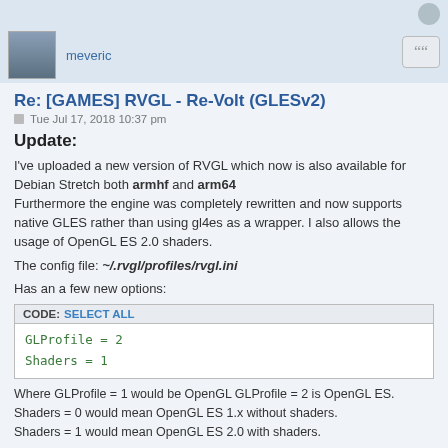meveric
Re: [GAMES] RVGL - Re-Volt (GLESv2)
Tue Jul 17, 2018 10:37 pm
Update:
I've uploaded a new version of RVGL which now is also available for Debian Stretch both armhf and arm64
Furthermore the engine was completely rewritten and now supports native GLES rather than using gl4es as a wrapper. I also allows the usage of OpenGL ES 2.0 shaders.
The config file: ~/.rvgl/profiles/rvgl.ini
Has an a few new options:
| CODE: SELECT ALL |
| --- |
| GLProfile = 2
Shaders = 1 |
Where GLProfile = 1 would be OpenGL GLProfile = 2 is OpenGL ES.
Shaders = 0 would mean OpenGL ES 1.x without shaders.
Shaders = 1 would mean OpenGL ES 2.0 with shaders.